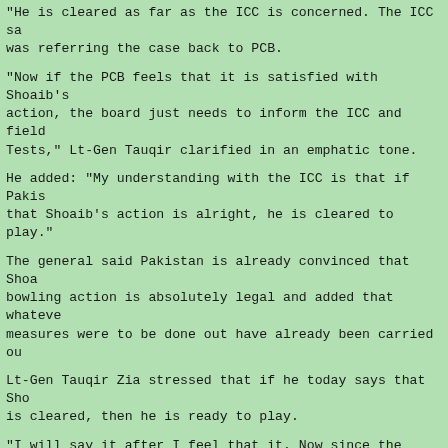"He is cleared as far as the ICC is concerned. The ICC sa was referring the case back to PCB.
"Now if the PCB feels that it is satisfied with Shoaib's action, the board just needs to inform the ICC and field Tests," Lt-Gen Tauqir clarified in an emphatic tone.
He added: "My understanding with the ICC is that if Pakis that Shoaib's action is alright, he is cleared to play."
The general said Pakistan is already convinced that Shoa bowling action is absolutely legal and added that whateve measures were to be done out have already been carried ou
Lt-Gen Tauqir Zia stressed that if he today says that Sho is cleared, then he is ready to play.
"I will say it after I feel that it. Now since the whole my court, therefore, I would like to be cent percent sure whatever I say is the truth.
"I have got the video footage of his bowling action from his action looks absolutely perfect," he said.
He said Pakistan was not planning to dispatch a fresh vio of Shoaib's bowling action to the ICC. "I just have to gi my understanding that he has a legal bowling action and f My assurance to the ICC is enough for him to play in Test